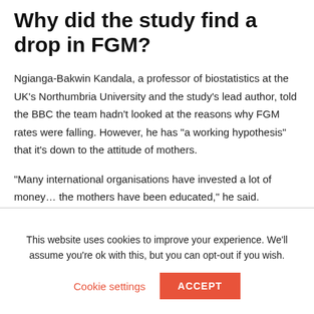Why did the study find a drop in FGM?
Ngianga-Bakwin Kandala, a professor of biostatistics at the UK’s Northumbria University and the study’s lead author, told the BBC the team hadn’t looked at the reasons why FGM rates were falling. However, he has “a working hypothesis” that it’s down to the attitude of mothers.
“Many international organisations have invested a lot of money… the mothers have been educated,” he said.
This website uses cookies to improve your experience. We’ll assume you’re ok with this, but you can opt-out if you wish.
Cookie settings  ACCEPT